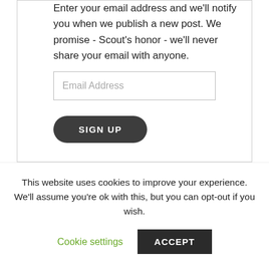Enter your email address and we'll notify you when we publish a new post. We promise - Scout's honor - we'll never share your email with anyone.
Email Address
SIGN UP
This website uses cookies to improve your experience. We'll assume you're ok with this, but you can opt-out if you wish.
Cookie settings
ACCEPT